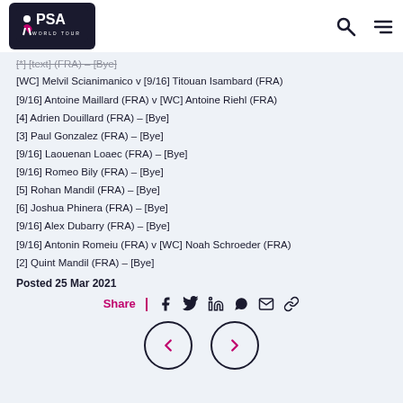PSA World Tour
[*] [crossed out text] – [Bye]
[WC] Melvil Scianimanico v [9/16] Titouan Isambard (FRA)
[9/16] Antoine Maillard (FRA) v [WC] Antoine Riehl (FRA)
[4] Adrien Douillard (FRA) – [Bye]
[3] Paul Gonzalez (FRA) – [Bye]
[9/16] Laouenan Loaec (FRA) – [Bye]
[9/16] Romeo Bily (FRA) – [Bye]
[5] Rohan Mandil (FRA) – [Bye]
[6] Joshua Phinera (FRA) – [Bye]
[9/16] Alex Dubarry (FRA) – [Bye]
[9/16] Antonin Romeiu (FRA) v [WC] Noah Schroeder (FRA)
[2] Quint Mandil (FRA) – [Bye]
Posted 25 Mar 2021
Share | social icons
[Figure (other): Navigation buttons: back arrow and forward arrow in circular outlines]